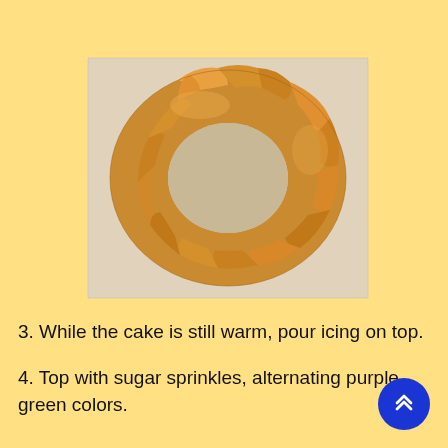[Figure (photo): A ring-shaped pastry bread (crescent roll wreath) baked golden-brown on parchment paper, viewed from above.]
3. While the cake is still warm, pour icing on top.
4. Top with sugar sprinkles, alternating purple, green colors.